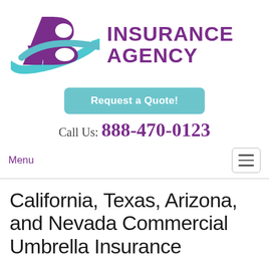[Figure (logo): AB Insurance Agency logo with purple AB monogram and teal swoosh, followed by purple bold text INSURANCE AGENCY]
Request a Quote!
Call Us: 888-470-0123
Menu
California, Texas, Arizona, and Nevada Commercial Umbrella Insurance